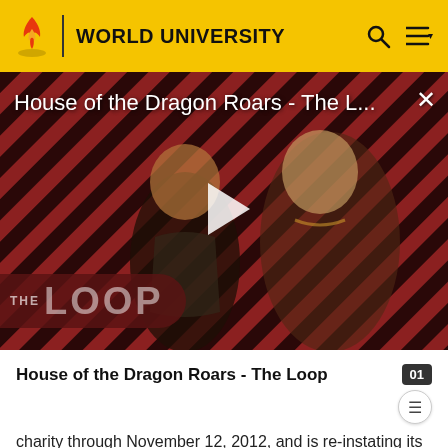WORLD UNIVERSITY
[Figure (screenshot): Video thumbnail for 'House of the Dragon Roars - The L...' showing two characters from House of the Dragon on a red diagonal striped background with THE LOOP branding, a play button overlay, and a close (X) button.]
House of the Dragon Roars - The Loop
charity through November 12, 2012, and is re-instating its 501(c)(3) tax-exempt status, as of September 2013, effective 2010.